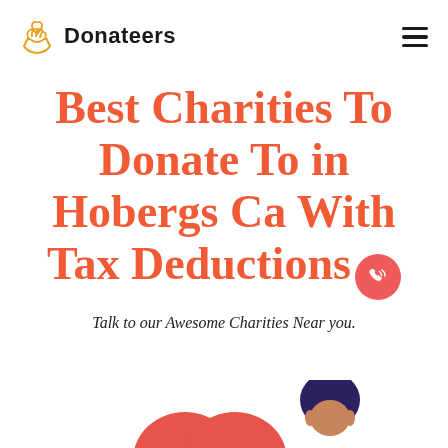Donateers
Best Charities To Donate To in Hobergs Ca With Tax Deductions
Talk to our Awesome Charities Near you.
[Figure (illustration): Bottom illustration showing a large red heart and a cartoon figure of a person with dark hair, partially visible at the bottom of the page.]